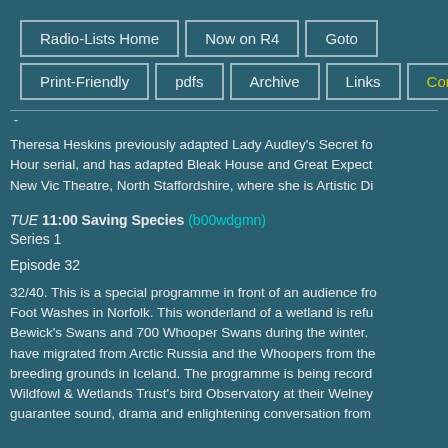Radio-Lists Home | Now on R4 | Goto | Print-Friendly | pdfs | Archive | Links | Contact
Theresa Heskins previously adapted Lady Audley's Secret for the Afternoon Hour serial, and has adapted Bleak House and Great Expectations for the New Vic Theatre, North Staffordshire, where she is Artistic Di...
TUE 11:00 Saving Species (b00wdgmn)
Series 1

Episode 32

32/40. This is a special programme in front of an audience fro... Foot Washes in Norfolk. This wonderland of a wetland is refu... Bewick's Swans and 700 Whooper Swans during the winter. ... have migrated from Arctic Russia and the Whoopers from the... breeding grounds in Iceland. The programme is being record... Wildfowl & Wetlands Trust's bird Observatory at their Welney... guarantee sound, drama and enlightening conversation from...